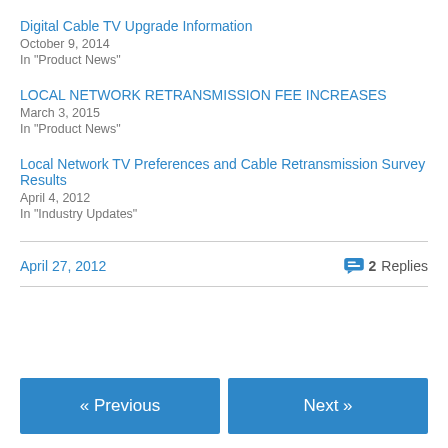Digital Cable TV Upgrade Information
October 9, 2014
In "Product News"
LOCAL NETWORK RETRANSMISSION FEE INCREASES
March 3, 2015
In "Product News"
Local Network TV Preferences and Cable Retransmission Survey Results
April 4, 2012
In "Industry Updates"
April 27, 2012
2 Replies
« Previous
Next »